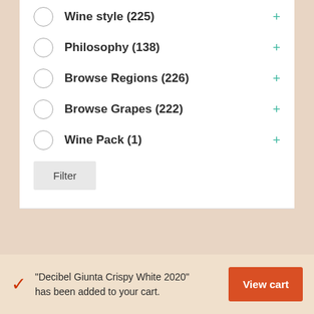Wine style (225) +
Philosophy (138) +
Browse Regions (226) +
Browse Grapes (222) +
Wine Pack (1) +
Filter
"Decibel Giunta Crispy White 2020" has been added to your cart.
View cart